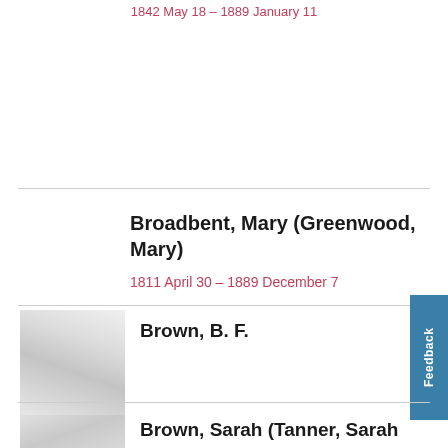1842 May 18 – 1889 January 11
Broadbent, Mary (Greenwood, Mary)
1811 April 30 – 1889 December 7
Brown, B. F.
[Figure (photo): Placeholder silhouette portrait photo for Brown, B. F.]
Brown, Sarah (Tanner, Sarah)